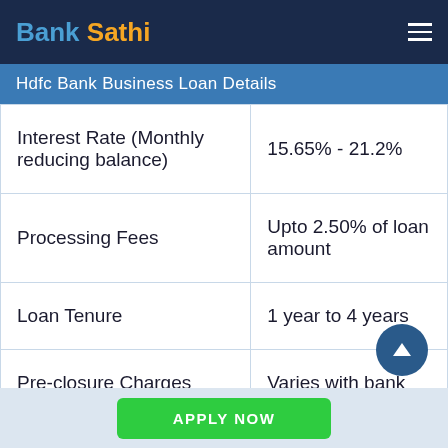Bank Sathi
Hdfc Bank Business Loan Details
|  |  |
| --- | --- |
| Interest Rate (Monthly reducing balance) | 15.65% - 21.2% |
| Processing Fees | Upto 2.50% of loan amount |
| Loan Tenure | 1 year to 4 years |
| Pre-closure Charges | Varies with bank |